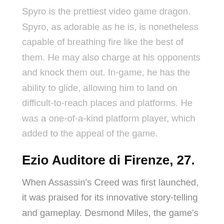Spyro is the prettiest video game dragon. Spyro, as adorable as he is, is nonetheless capable of breathing fire like the best of them. He may also charge at his opponents and knock them out. In-game, he has the ability to glide, allowing him to land on difficult-to-reach places and platforms. He was a one-of-a-kind platform player, which added to the appeal of the game.
Ezio Auditore di Firenze, 27.
When Assassin's Creed was first launched, it was praised for its innovative story-telling and gameplay. Desmond Miles, the game's main character, is a descendent of Desmond Miles. This was a major factor in its success. Desmond uses force to return to his ancestor's memories in order for a secret group to learn the truth about the past.